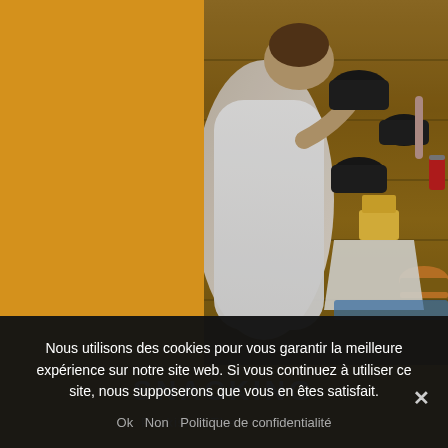[Figure (photo): A woman in a white dress eating at an outdoor wooden table. The table has several black pots of mussels, a container of fries, a burger on a tray, drinks including a red can, and a wine glass. The setting appears to be a beach or outdoor restaurant.]
SNACKING
Peckish ? The snack-bar
Nous utilisons des cookies pour vous garantir la meilleure expérience sur notre site web. Si vous continuez à utiliser ce site, nous supposerons que vous en êtes satisfait.
Ok   Non   Politique de confidentialité